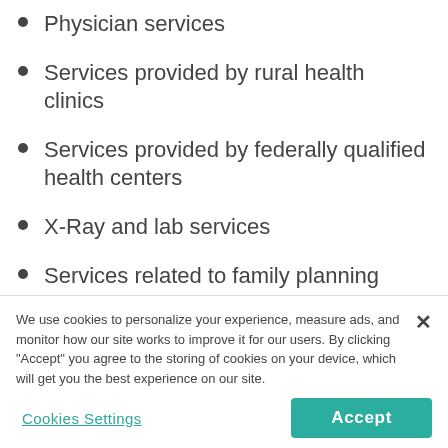Physician services
Services provided by rural health clinics
Services provided by federally qualified health centers
X-Ray and lab services
Services related to family planning
Services provided by nurse midwives
Services provided by certified pediatric and family nurse
We use cookies to personalize your experience, measure ads, and monitor how our site works to improve it for our users. By clicking "Accept" you agree to the storing of cookies on your device, which will get you the best experience on our site.
Cookies Settings
Accept